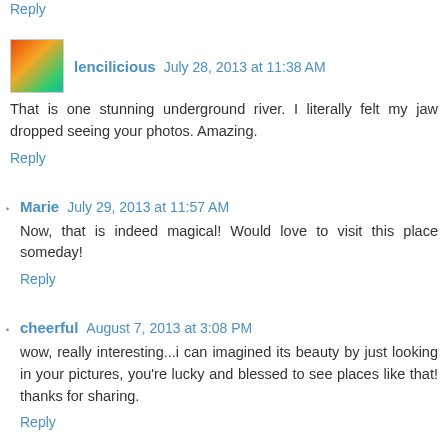Reply
lencilicious  July 28, 2013 at 11:38 AM
That is one stunning underground river. I literally felt my jaw dropped seeing your photos. Amazing.
Reply
Marie  July 29, 2013 at 11:57 AM
Now, that is indeed magical! Would love to visit this place someday!
Reply
cheerful  August 7, 2013 at 3:08 PM
wow, really interesting...i can imagined its beauty by just looking in your pictures, you're lucky and blessed to see places like that! thanks for sharing.
Reply